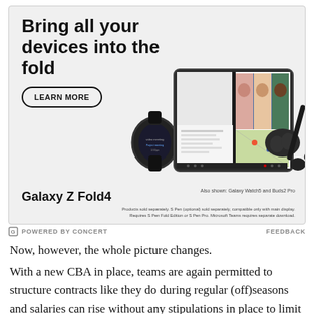[Figure (illustration): Samsung Galaxy Z Fold4 advertisement banner. Shows bold headline 'Bring all your devices into the fold', a 'LEARN MORE' button, and product images of Galaxy Z Fold4 open showing a video call, Galaxy Watch5, Buds2 Pro, and S Pen stylus. Product name 'Galaxy Z Fold4' at bottom left. Disclaimers at bottom right.]
POWERED BY CONCERT   FEEDBACK
Now, however, the whole picture changes.
With a new CBA in place, teams are again permitted to structure contracts like they do during regular (off)seasons and salaries can rise without any stipulations in place to limit the increase to 30 percent.